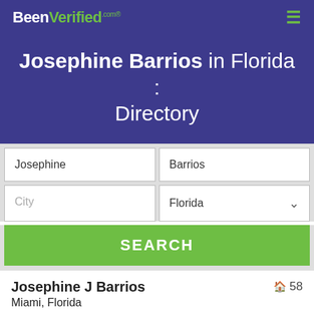BeenVerified.com
Josephine Barrios in Florida : Directory
Josephine | Barrios | City | Florida
SEARCH
Josephine J Barrios — 58 — Miami, Florida — 736 NE 82nd St, Miami, FL